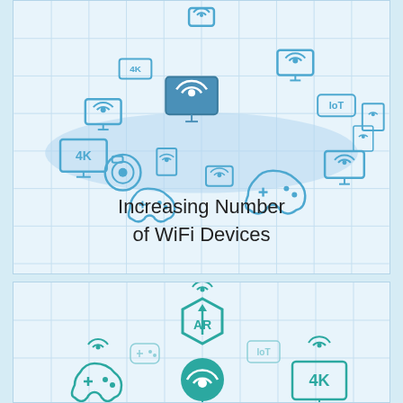[Figure (infographic): Top panel showing multiple WiFi-connected device icons (TVs, tablets, phones, gaming controllers, cameras, IoT devices, 4K devices) arranged in a cloud/ellipse formation on a light blue grid background.]
Increasing Number of WiFi Devices
[Figure (infographic): Bottom panel showing teal icons including AR hexagon, WiFi router in circle, game controller, IoT tag, and 4K display on a light blue grid background.]